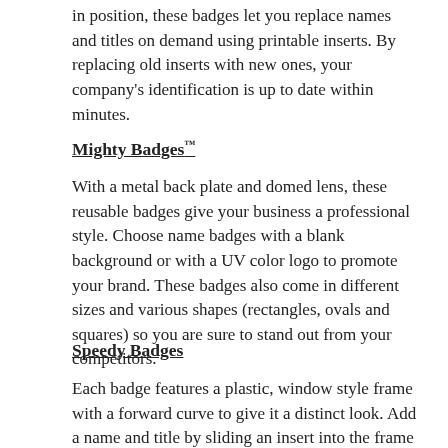in position, these badges let you replace names and titles on demand using printable inserts. By replacing old inserts with new ones, your company's identification is up to date within minutes.
Mighty Badges™
With a metal back plate and domed lens, these reusable badges give your business a professional style. Choose name badges with a blank background or with a UV color logo to promote your brand. These badges also come in different sizes and various shapes (rectangles, ovals and squares) so you are sure to stand out from your competitors.
Speedy Badges
Each badge features a plastic, window style frame with a forward curve to give it a distinct look. Add a name and title by sliding an insert into the frame and placing the clear lens over the top. With a pin or magnetic